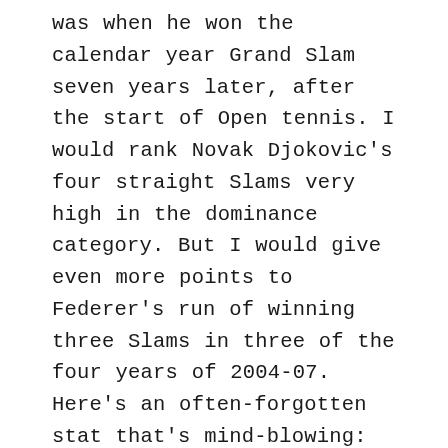was when he won the calendar year Grand Slam seven years later, after the start of Open tennis. I would rank Novak Djokovic's four straight Slams very high in the dominance category. But I would give even more points to Federer's run of winning three Slams in three of the four years of 2004-07. Here's an often-forgotten stat that's mind-blowing: Eighteen Slams were played from 2003 Wimbledon through the 2007 U.S. Open, and Federer won 12 of them. That's Djokovic's entire Slam haul, and a sustained period of dominance that no one has approached before or since. I would also give a lot of points to Pete Sampras for his six straight years as year-end No. 1. That's dominance. (And a stat I think is often